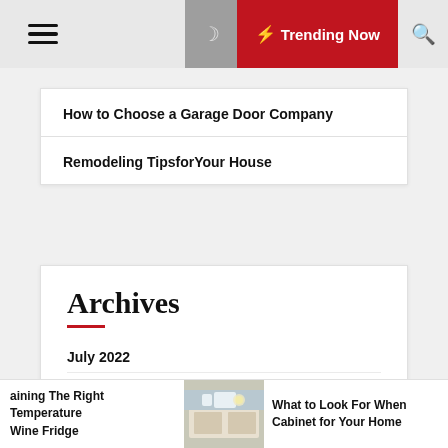Trending Now
How to Choose a Garage Door Company
Remodeling TipsforYour House
Archives
July 2022
June 2022
May 2022
aining The Right Temperature Wine Fridge
[Figure (photo): Kitchen interior photo]
What to Look For When Cabinet for Your Home